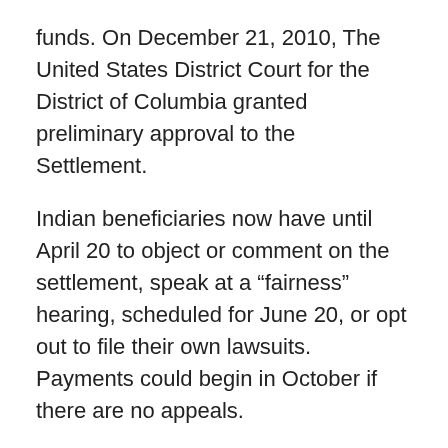funds. On December 21, 2010, The United States District Court for the District of Columbia granted preliminary approval to the Settlement.
Indian beneficiaries now have until April 20 to object or comment on the settlement, speak at a “fairness” hearing, scheduled for June 20, or opt out to file their own lawsuits. Payments could begin in October if there are no appeals.
Most beneficiaries will receive at least $1,800 but some could receive more. Some beneficiaries will only receive $800, the minimum payment.
A possible hold up may be the dispute over legal fees. Attorneys are asking for $223 million instead of the $99 million provided agreed to in the settlement. Last week